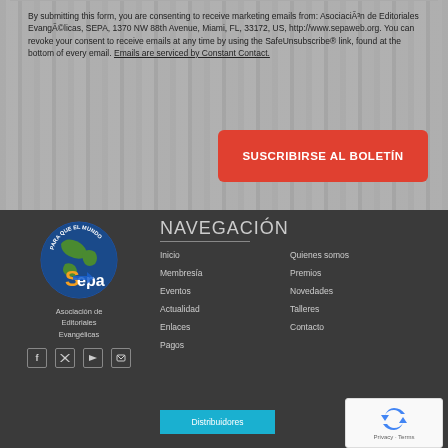By submitting this form, you are consenting to receive marketing emails from: AsociaciÃ³n de Editoriales EvangÃ©licas, SEPA, 1370 NW 88th Avenue, Miami, FL, 33172, US, http://www.sepaweb.org. You can revoke your consent to receive emails at any time by using the SafeUnsubscribe® link, found at the bottom of every email. Emails are serviced by Constant Contact.
[Figure (illustration): Red button with white bold text reading SUSCRIBIRSE AL BOLETÍN]
[Figure (logo): SEPA globe logo - blue and green globe with orange Sepa text and dark blue arrow]
Asociación de Editoriales Evangélicas
NAVEGACIÓN
Inicio
Membresía
Eventos
Actualidad
Enlaces
Pagos
Quienes somos
Premios
Novedades
Talleres
Contacto
[Figure (other): Blue button with white text: Distribuidores]
[Figure (other): reCAPTCHA widget with Privacy - Terms text]